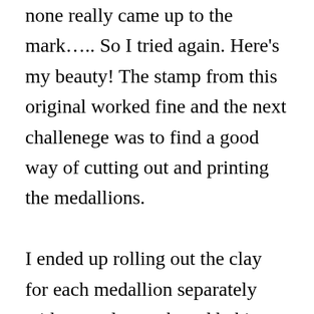none really came up to the mark….. So I tried again. Here's my beauty! The stamp from this original worked fine and the next challenege was to find a good way of cutting out and printing the medallions.

I ended up rolling out the clay for each medallion separately with a newly purchased baking cutter purchased from a lovely shop in Abergavenny.( Getting a cutter big enough was not easy and the original metal one I bought wasn't quite circular and had a join.)  I